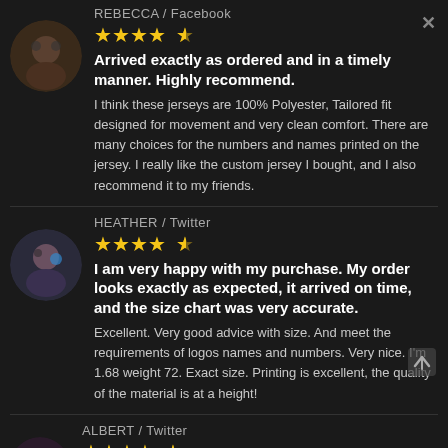REBECCA / Facebook
★★★★½
Arrived exactly as ordered and in a timely manner. Highly recommend.
I think these jerseys are 100% Polyester, Tailored fit designed for movement and very clean comfort. There are many choices for the numbers and names printed on the jersey. I really like the custom jersey I bought, and I also recommend it to my friends.
HEATHER / Twitter
★★★★½
I am very happy with my purchase. My order looks exactly as expected, it arrived on time, and the size chart was very accurate.
Excellent. Very good advice with size. And meet the requirements of logos names and numbers. Very nice. I'm 1.68 weight 72. Exact size. Printing is excellent, the quality of the material is at a height!
ALBERT / Twitter
★★★★½
I'm over the moon excited for this jersey!! It's